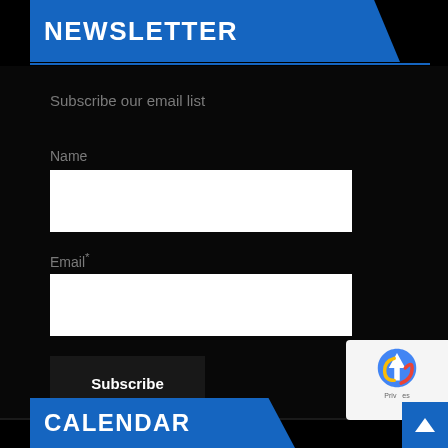NEWSLETTER
Subscribe our email list
Name
Email*
Subscribe
CALENDAR